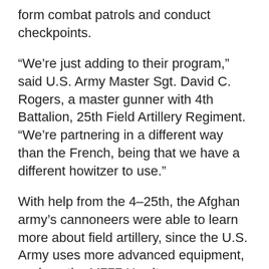form combat patrols and conduct checkpoints.
“We’re just adding to their program,” said U.S. Army Master Sgt. David C. Rogers, a master gunner with 4th Battalion, 25th Field Artillery Regiment. “We’re partnering in a different way than the French, being that we have a different howitzer to use.”
With help from the 4–25th, the Afghan army’s cannoneers were able to learn more about field artillery, since the U.S. Army uses more advanced equipment, such as the M777 Howitzer.
“It was very useful to work with the other armies,” said Lt. Sayed Hamed, a field artillery officer with the